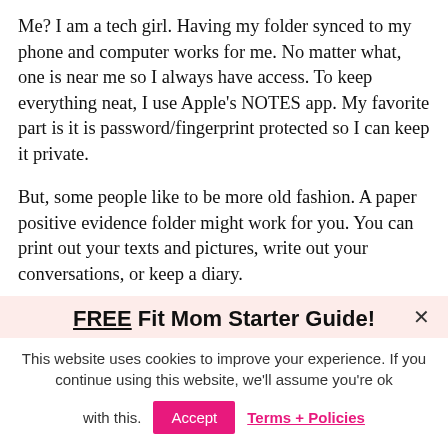Me? I am a tech girl. Having my folder synced to my phone and computer works for me. No matter what, one is near me so I always have access. To keep everything neat, I use Apple's NOTES app. My favorite part is it is password/fingerprint protected so I can keep it private.
But, some people like to be more old fashion. A paper positive evidence folder might work for you. You can print out your texts and pictures, write out your conversations, or keep a diary.
Get creative and stay true to yourself!
FREE Fit Mom Starter Guide!
This website uses cookies to improve your experience. If you continue using this website, we'll assume you're ok with this.
Accept   Terms + Policies